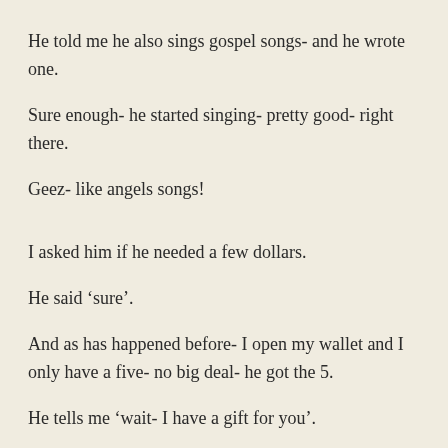He told me he also sings gospel songs- and he wrote one.
Sure enough- he started singing- pretty good- right there.
Geez- like angels songs!
I asked him if he needed a few dollars.
He said ‘sure’.
And as has happened before- I open my wallet and I only have a five- no big deal- he got the 5.
He tells me ‘wait- I have a gift for you’.
Huh?
For me?